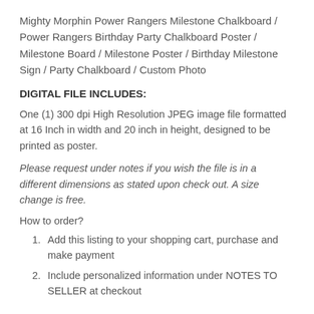Mighty Morphin Power Rangers Milestone Chalkboard / Power Rangers Birthday Party Chalkboard Poster / Milestone Board / Milestone Poster / Birthday Milestone Sign / Party Chalkboard / Custom Photo
DIGITAL FILE INCLUDES:
One (1) 300 dpi High Resolution JPEG image file formatted at 16 Inch in width and 20 inch in height, designed to be printed as poster.
Please request under notes if you wish the file is in a different dimensions as stated upon check out. A size change is free.
How to order?
Add this listing to your shopping cart, purchase and make payment
Include personalized information under NOTES TO SELLER at checkout